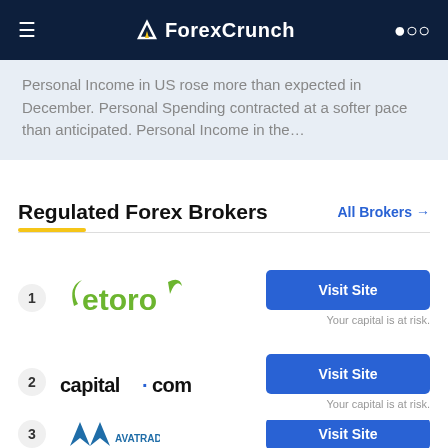ForexCrunch
Personal Income in US rose more than expected in December. Personal Spending contracted at a softer pace than anticipated. Personal Income in the…
Regulated Forex Brokers
All Brokers →
[Figure (logo): eToro logo - green stylized text with horns]
Visit Site
Your capital is at risk.
[Figure (logo): capital.com logo - bold black text]
Visit Site
Your capital is at risk.
[Figure (logo): AvaTrade logo - blue chevron/mountain shape with text]
Visit Site